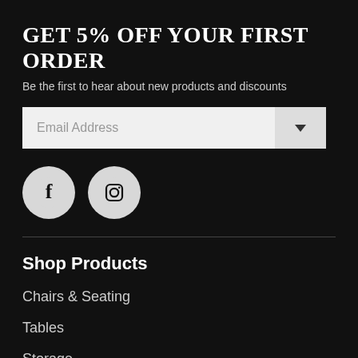GET 5% OFF YOUR FIRST ORDER
Be the first to hear about new products and discounts
[Figure (screenshot): Email address input field with a dropdown chevron button]
[Figure (illustration): Facebook and Instagram social media icon circles]
Shop Products
Chairs & Seating
Tables
Storage
S... (cut off)